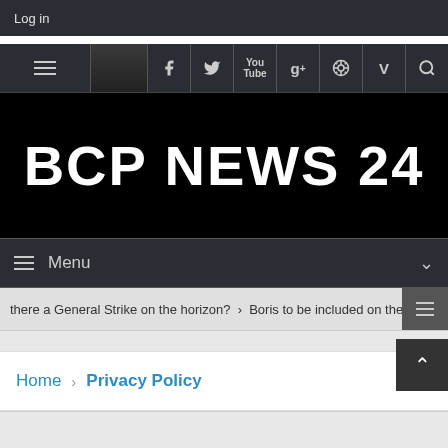Log in
[Figure (screenshot): Navigation icon bar with hamburger menu and social media icons: Facebook, Twitter, YouTube, Google+, Pinterest, Vimeo, Search]
BCP NEWS 24
Menu
there a General Strike on the horizon? > Boris to be included on the ba
Home > Privacy Policy